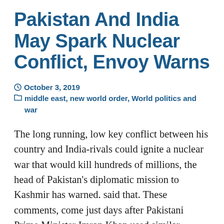Pakistan And India May Spark Nuclear Conflict, Envoy Warns
October 3, 2019   middle east, new world order, World politics and war
The long running, low key conflict between his country and India-rivals could ignite a nuclear war that would kill hundreds of millions, the head of Pakistan's diplomatic mission to Kashmir has warned. said that. These comments, come just days after Pakistani Prime Minister Imran Khan used similar rhetoric to warn India off further